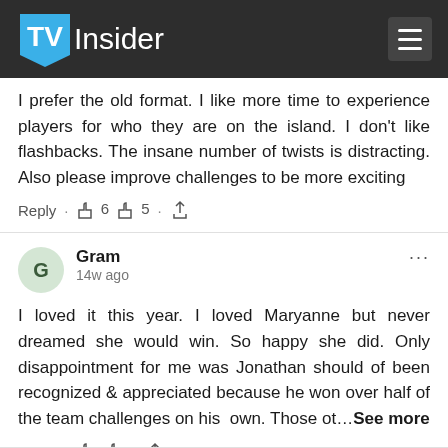TV Insider
I prefer the old format. I like more time to experience players for who they are on the island. I don't like flashbacks. The insane number of twists is distracting. Also please improve challenges to be more exciting
Reply · 👍 6 👎 5 · share
Gram · 14w ago
I loved it this year. I loved Maryanne but never dreamed she would win. So happy she did. Only disappointment for me was Jonathan should of been recognized & appreciated because he won over half of the team challenges on his  own. Those ot…See more
Reply · 👍 👎 · share